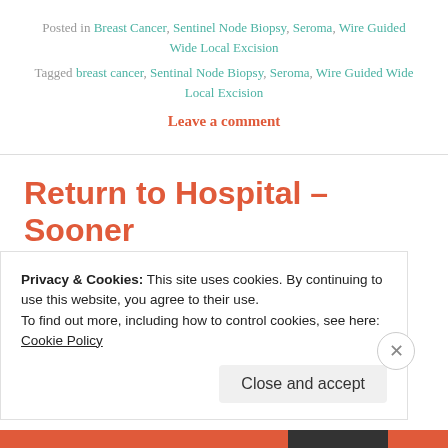Posted in Breast Cancer, Sentinel Node Biopsy, Seroma, Wire Guided Wide Local Excision
Tagged breast cancer, Sentinal Node Biopsy, Seroma, Wire Guided Wide Local Excision
Leave a comment
Return to Hospital – Sooner
Privacy & Cookies: This site uses cookies. By continuing to use this website, you agree to their use. To find out more, including how to control cookies, see here: Cookie Policy
Close and accept